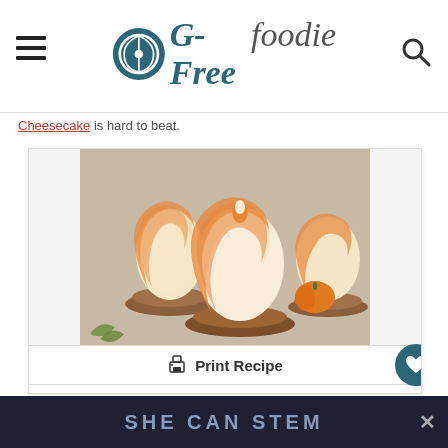G-Free Foodie
Cheesecake is hard to beat.
[Figure (photo): Gluten-free spice cupcakes topped with swirled white and orange frosting, arranged on a marble surface with small pumpkins in background]
Print Recipe
5 from 1 vote
Gluten-Free Spice Cupcakes
SHE CAN STEM